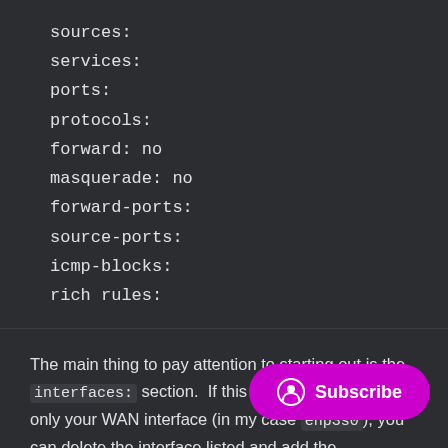sources:
services:
ports:
protocols:
forward: no
masquerade: no
forward-ports:
source-ports:
icmp-blocks:
rich rules:
The main thing to pay attention to starting out is the interfaces: section. If this section does not list only your WAN interface (in my case enp3s0), you can delete the interface listed and add the WAN ... enp4s0 with the incorrect interface).